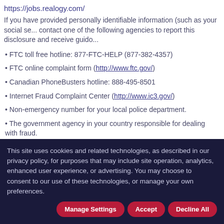https://jobs.realogy.com/
If you have provided personally identifiable information (such as your social se... contact one of the following agencies to report this disclosure and receive guido...
• FTC toll free hotline: 877-FTC-HELP (877-382-4357)
• FTC online complaint form (http://www.ftc.gov/)
• Canadian PhoneBusters hotline: 888-495-8501
• Internet Fraud Complaint Center (http://www.ic3.gov/)
• Non-emergency number for your local police department.
• The government agency in your country responsible for dealing with fraud.
For more information on wire-fraud scams or to report an incident, please refe...
• Federal Bureau of Investigation: http://www.fbi.gov/
This site uses cookies and related technologies, as described in our privacy policy, for purposes that may include site operation, analytics, enhanced user experience, or advertising. You may choose to consent to our use of these technologies, or manage your own preferences.